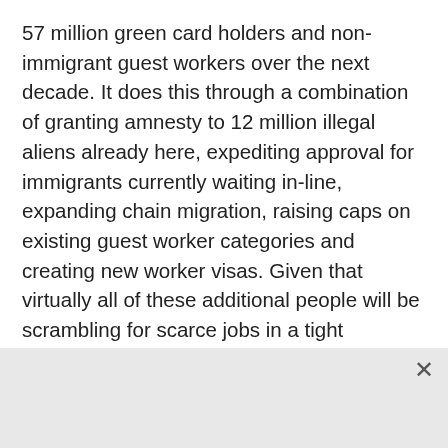57 million green card holders and non-immigrant guest workers over the next decade. It does this through a combination of granting amnesty to 12 million illegal aliens already here, expediting approval for immigrants currently waiting in-line, expanding chain migration, raising caps on existing guest worker categories and creating new worker visas. Given that virtually all of these additional people will be scrambling for scarce jobs in a tight economy, “what’s in it for me” is a fair question, especially if you’re one of the 22 million unemployed or underemployed in America.